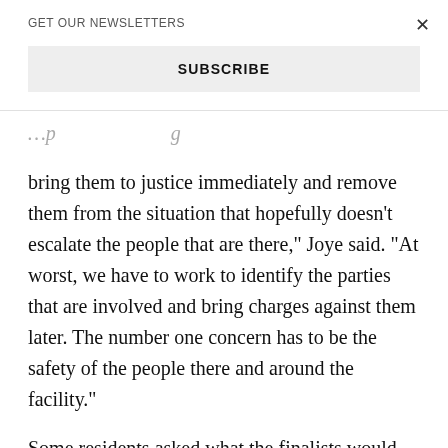GET OUR NEWSLETTERS
SUBSCRIBE
bring them to justice immediately and remove them from the situation that hopefully doesn't escalate the people that are there," Joye said. "At worst, we have to work to identify the parties that are involved and bring charges against them later. The number one concern has to be the safety of the people there and around the facility."
Some residents asked what the finalists would do to ensure cases the department sends to the district attorney...